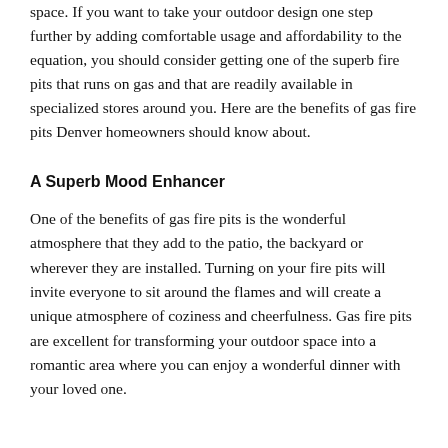space. If you want to take your outdoor design one step further by adding comfortable usage and affordability to the equation, you should consider getting one of the superb fire pits that runs on gas and that are readily available in specialized stores around you. Here are the benefits of gas fire pits Denver homeowners should know about.
A Superb Mood Enhancer
One of the benefits of gas fire pits is the wonderful atmosphere that they add to the patio, the backyard or wherever they are installed. Turning on your fire pits will invite everyone to sit around the flames and will create a unique atmosphere of coziness and cheerfulness. Gas fire pits are excellent for transforming your outdoor space into a romantic area where you can enjoy a wonderful dinner with your loved one.